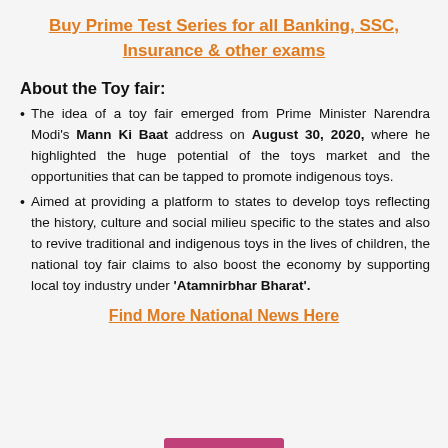Buy Prime Test Series for all Banking, SSC, Insurance & other exams
About the Toy fair:
The idea of a toy fair emerged from Prime Minister Narendra Modi's Mann Ki Baat address on August 30, 2020, where he highlighted the huge potential of the toys market and the opportunities that can be tapped to promote indigenous toys.
Aimed at providing a platform to states to develop toys reflecting the history, culture and social milieu specific to the states and also to revive traditional and indigenous toys in the lives of children, the national toy fair claims to also boost the economy by supporting local toy industry under 'Atamnirbhar Bharat'.
Find More National News Here